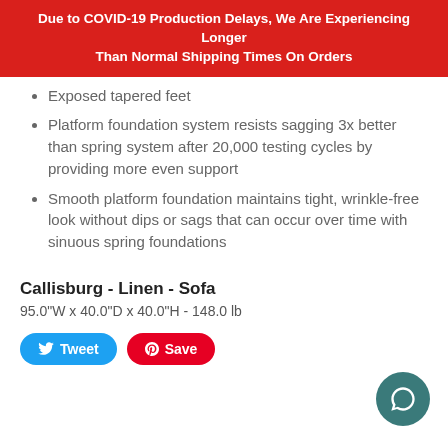Due to COVID-19 Production Delays, We Are Experiencing Longer Than Normal Shipping Times On Orders
Exposed tapered feet
Platform foundation system resists sagging 3x better than spring system after 20,000 testing cycles by providing more even support
Smooth platform foundation maintains tight, wrinkle-free look without dips or sags that can occur over time with sinuous spring foundations
Callisburg - Linen - Sofa
95.0"W x 40.0"D x 40.0"H - 148.0 lb
Tweet  Save